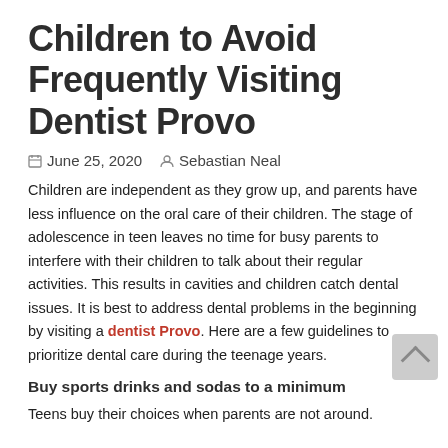Children to Avoid Frequently Visiting Dentist Provo
June 25, 2020   Sebastian Neal
Children are independent as they grow up, and parents have less influence on the oral care of their children. The stage of adolescence in teen leaves no time for busy parents to interfere with their children to talk about their regular activities. This results in cavities and children catch dental issues. It is best to address dental problems in the beginning by visiting a dentist Provo. Here are a few guidelines to prioritize dental care during the teenage years.
Buy sports drinks and sodas to a minimum
Teens buy their choices when parents are not around.